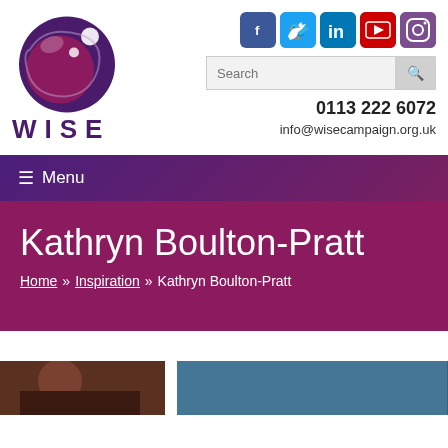[Figure (logo): WISE campaign logo — purple circular sphere graphic with orbiting elements and bold purple text 'WISE' below]
[Figure (infographic): Social media icons row: Facebook (blue), Twitter (light blue), LinkedIn (dark blue), YouTube (red), Instagram (purple)]
Search
0113 222 6072
info@wisecampaign.org.uk
≡ Menu
Kathryn Boulton-Pratt
Home » Inspiration » Kathryn Boulton-Pratt
[Figure (photo): Two partial photos visible at bottom of page — left appears to be a person, right appears to have blue tones]